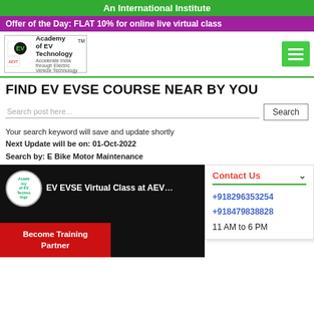An International Institute
Offer of the Day: FLAT 10% for online live virtual class
FIND EV EVSE COURSE NEAR BY YOU
Search post here...
Your search keyword will save and update shortly
Next Update will be on: 01-Oct-2022
Search by: E Bike Motor Maintenance
[Figure (screenshot): Video thumbnail showing EV EVSE Virtual Class at AEV with Academy of EV Technology logo and Become Training Partner button]
Contact Us
+918296353254
+918479838828
11 AM to 6 PM